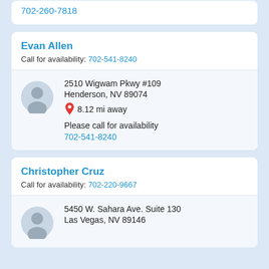702-260-7818
Evan Allen
Call for availability: 702-541-8240
2510 Wigwam Pkwy #109
Henderson,  NV 89074
8.12 mi away
Please call for availability
702-541-8240
Christopher Cruz
Call for availability: 702-220-9667
5450 W. Sahara Ave. Suite 130
Las Vegas,  NV 89146